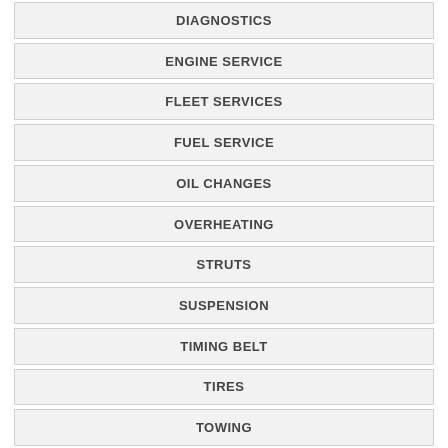DIAGNOSTICS
ENGINE SERVICE
FLEET SERVICES
FUEL SERVICE
OIL CHANGES
OVERHEATING
STRUTS
SUSPENSION
TIMING BELT
TIRES
TOWING